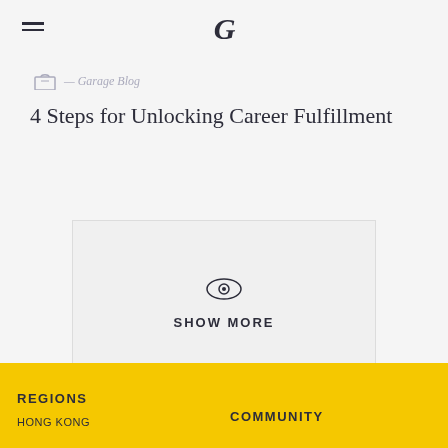G
— Garage Blog
4 Steps for Unlocking Career Fulfillment
[Figure (other): Show More button with eye icon inside a bordered box. Eye icon at top, text 'SHOW MORE' below.]
REGIONS    COMMUNITY    HONG KONG